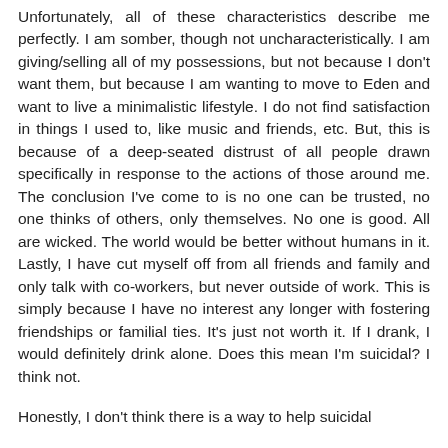Unfortunately, all of these characteristics describe me perfectly. I am somber, though not uncharacteristically. I am giving/selling all of my possessions, but not because I don't want them, but because I am wanting to move to Eden and want to live a minimalistic lifestyle. I do not find satisfaction in things I used to, like music and friends, etc. But, this is because of a deep-seated distrust of all people drawn specifically in response to the actions of those around me. The conclusion I've come to is no one can be trusted, no one thinks of others, only themselves. No one is good. All are wicked. The world would be better without humans in it. Lastly, I have cut myself off from all friends and family and only talk with co-workers, but never outside of work. This is simply because I have no interest any longer with fostering friendships or familial ties. It's just not worth it. If I drank, I would definitely drink alone. Does this mean I'm suicidal? I think not.
Honestly, I don't think there is a way to help suicidal